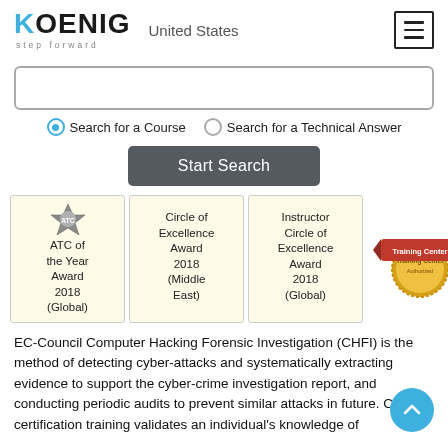KOENIG step forward | United States
Search for a Course | Search for a Technical Answer
Start Search
[Figure (logo): Award badges: ATC of the Year Award 2018 (Global), Circle of Excellence Award 2018 (Middle East), Instructor Circle of Excellence Award 2018 (Global), Training Center seal]
EC-Council Computer Hacking Forensic Investigation (CHFI) is the method of detecting cyber-attacks and systematically extracting evidence to support the cyber-crime investigation report, and conducting periodic audits to prevent similar attacks in future. CHFI certification training validates an individual's knowledge of